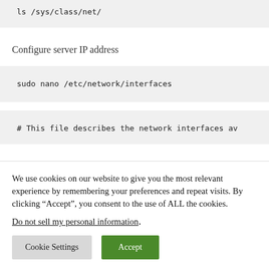ls /sys/class/net/
Configure server IP address
sudo nano /etc/network/interfaces
# This file describes the network interfaces av
We use cookies on our website to give you the most relevant experience by remembering your preferences and repeat visits. By clicking “Accept”, you consent to the use of ALL the cookies.
Do not sell my personal information.